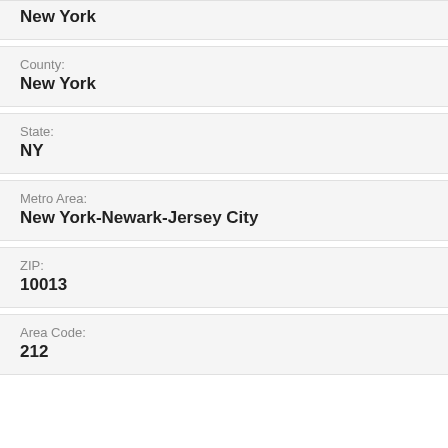New York
County: New York
State: NY
Metro Area: New York-Newark-Jersey City
ZIP: 10013
Area Code: 212